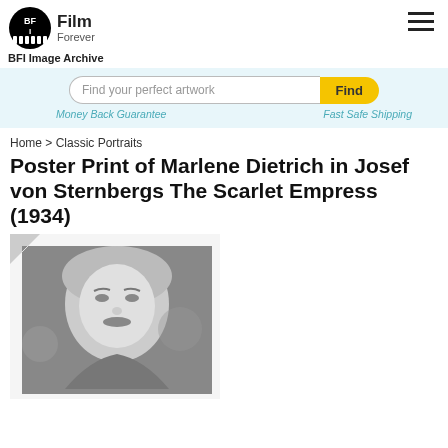BFI Film Forever / BFI Image Archive
Find your perfect artwork
Money Back Guarantee    Fast Safe Shipping
Home > Classic Portraits
Poster Print of Marlene Dietrich in Josef von Sternbergs The Scarlet Empress (1934)
[Figure (photo): Black and white portrait photo of Marlene Dietrich in The Scarlet Empress (1934), shown as a poster print product with curled corner effect]